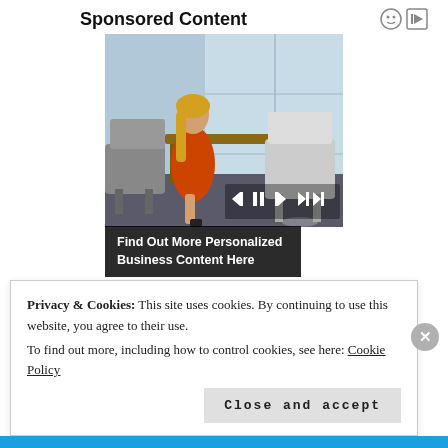Sponsored Content
[Figure (photo): Woman in orange dress sitting at office desk by large window, looking pensive, with office chairs around her. Media player controls visible. Overlay text reads: Find Out More Personalized Business Content Here]
Privacy & Cookies: This site uses cookies. By continuing to use this website, you agree to their use.
To find out more, including how to control cookies, see here: Cookie Policy
Close and accept